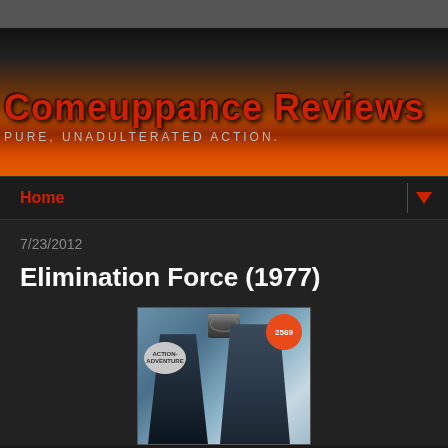[Figure (illustration): Comeuppance Reviews website banner with flames background, red text title and gray subtitle]
Home
7/23/2012
Elimination Force (1977)
[Figure (photo): VHS cover art for Elimination Force (1977) showing two men with weapons, orange price sticker reading 2569, gray ACTION-ADVENTURE label sticker, and VHS tape icon at top]